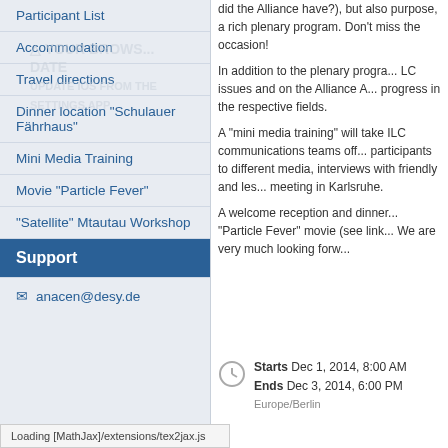Participant List
Accommodation
Travel directions
Dinner location "Schulauer Fährhaus"
Mini Media Training
Movie "Particle Fever"
"Satellite" Mtautau Workshop
Support
anacen@desy.de
did the Alliance have?), but also purpose, a rich plenary program. Don't miss the occasion!
In addition to the plenary program, LC issues and on the Alliance A... progress in the respective fields.
A "mini media training" will take ILC communications teams off... participants to different media, interviews with friendly and les... meeting in Karlsruhe.
A welcome reception and dinner... "Particle Fever" movie (see link... We are very much looking forw...
Starts Dec 1, 2014, 8:00 AM
Ends Dec 3, 2014, 6:00 PM
Europe/Berlin
Loading [MathJax]/extensions/tex2jax.js